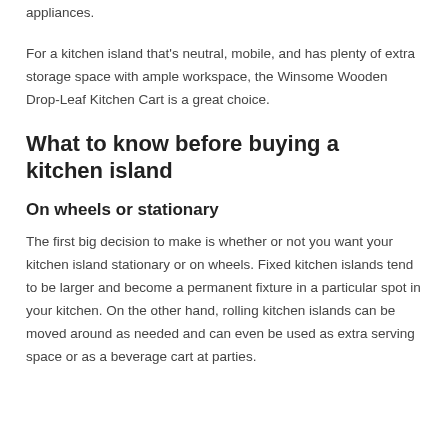appliances.
For a kitchen island that's neutral, mobile, and has plenty of extra storage space with ample workspace, the Winsome Wooden Drop-Leaf Kitchen Cart is a great choice.
What to know before buying a kitchen island
On wheels or stationary
The first big decision to make is whether or not you want your kitchen island stationary or on wheels. Fixed kitchen islands tend to be larger and become a permanent fixture in a particular spot in your kitchen. On the other hand, rolling kitchen islands can be moved around as needed and can even be used as extra serving space or as a beverage cart at parties.